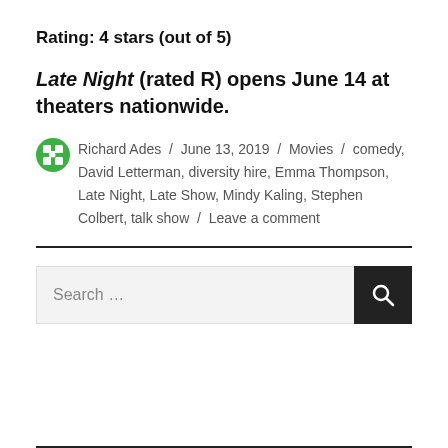Rating: 4 stars (out of 5)
Late Night (rated R) opens June 14 at theaters nationwide.
Richard Ades / June 13, 2019 / Movies / comedy, David Letterman, diversity hire, Emma Thompson, Late Night, Late Show, Mindy Kaling, Stephen Colbert, talk show / Leave a comment